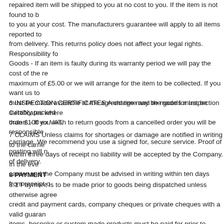repaired item will be shipped to you at no cost to you. If the item is not found to b to you at your cost. The manufacturers guarantee will apply to all items reported to from delivery. This returns policy does not affect your legal rights. Responsibility fo Goods - If an item is faulty during its warranty period we will pay the cost of the re maximum of £5.00 or we will arrange for the item to be collected. If you want us to must be made available at the agreed time and the goods must be suitably packed orders - If you wish to return goods from a cancelled order you will be responsible carriage. We recommend you use a signed for, secure service. Proof of posting will n of delivery.
6 INSPECTION CERTIFICATES A charge may be made for Inspection Certificates where than £100 ex VAT.
7 CLAIMS Unless claims for shortages or damage are notified in writing to the carri within three days of receipt no liability will be accepted by the Company. In the eve carrier and the Company must be advised in writing within ten days from receipt o
8 PAYMENT
8.1 Payment is to be made prior to goods being dispatched unless otherwise agree credit and payment cards, company cheques or private cheques with a valid guaran items, bespoke or custom made products must be paid for prior to delivery and in production, these items are non returnable/non refundable, however your statutor 8.2 A Credit account may be opened for Purchasers who furnish satisfactory referen